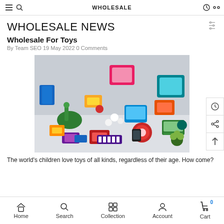WHOLESALE
WHOLESALE NEWS
Wholesale For Toys
By Team SEO 19 May 2022 0 Comments
[Figure (photo): A large collection of colorful children's toys spread out on a surface, including ride-on toys, electronic learning devices, stuffed animals, toy instruments, and various plastic toys in bright colors.]
The world's children love toys of all kinds, regardless of their age. How come?
Home  Search  Collection  Account  Cart